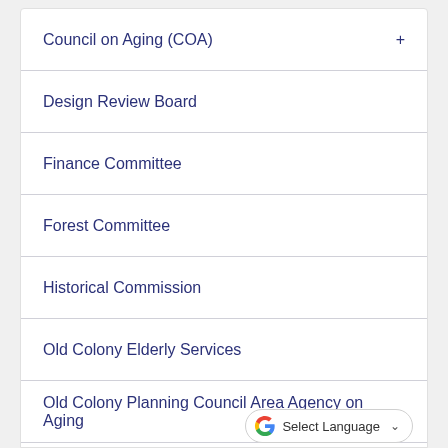Council on Aging (COA)
Design Review Board
Finance Committee
Forest Committee
Historical Commission
Old Colony Elderly Services
Old Colony Planning Council Area Agency on Aging
Rockland Cultural Council